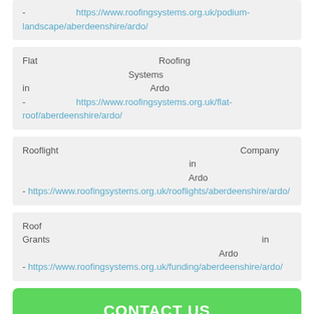- https://www.roofingsystems.org.uk/podium-landscape/aberdeenshire/ardo/
Flat Roofing Systems in Ardo - https://www.roofingsystems.org.uk/flat-roof/aberdeenshire/ardo/
Rooflight Company in Ardo - https://www.roofingsystems.org.uk/rooflights/aberdeenshire/ardo/
Roof Grants in Ardo - https://www.roofingsystems.org.uk/funding/aberdeenshire/ardo/
CONTACT US
Covering AB41 7
[Figure (map): Map image placeholder showing location coverage for AB41 7]